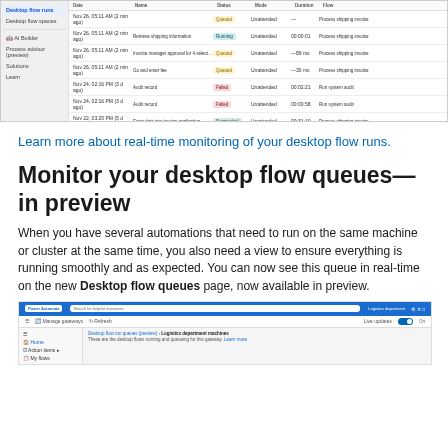[Figure (screenshot): Screenshot of Power Automate desktop flow runs table showing multiple rows with columns for date/time, flow name, status (Queued, Running, Failed, Succeeded), mode (Unattended), duration, and flow name. Sidebar shows Desktop flow runs, Desktop flow spaces, AI Builder, Process advisor, Solutions, Learn.]
Learn more about real-time monitoring of your desktop flow runs.
Monitor your desktop flow queues—in preview
When you have several automations that need to run on the same machine or cluster at the same time, you also need a view to ensure everything is running smoothly and as expected. You can now see this queue in real-time on the new Desktop flow queues page, now available in preview.
[Figure (screenshot): Screenshot of Power Automate showing Desktop flow run queues (preview) page with Logistics department machines. Navigation bar in blue at top with Power Automate logo and search bar. Left sidebar with Home, Action items, My flows. Main content shows breadcrumb 'Desktop flow run queues (preview) > Logistics department machines' and description 'These are the desktop flows running and queueing for this gateway. Learn more'. Live updates toggle is ON.]